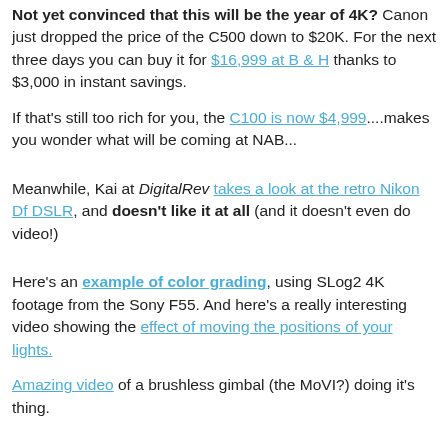Not yet convinced that this will be the year of 4K? Canon just dropped the price of the C500 down to $20K. For the next three days you can buy it for $16,999 at B & H thanks to $3,000 in instant savings.
If that's still too rich for you, the C100 is now $4,999....makes you wonder what will be coming at NAB...
Meanwhile, Kai at DigitalRev takes a look at the retro Nikon Df DSLR, and doesn't like it at all (and it doesn't even do video!)
Here's an example of color grading, using SLog2 4K footage from the Sony F55. And here's a really interesting video showing the effect of moving the positions of your lights.
Amazing video of a brushless gimbal (the MoVI?) doing it's thing.